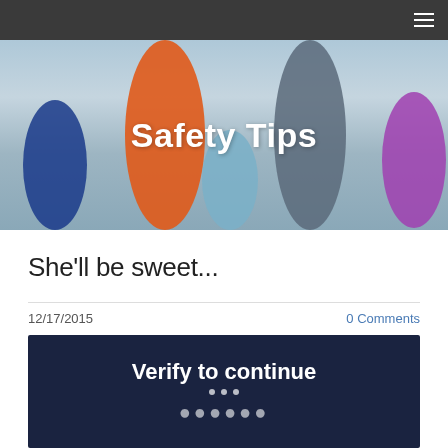Navigation bar with hamburger menu
[Figure (photo): Hero banner image showing a family (adults and children) walking on a beach holding hands, with 'Safety Tips' text overlaid in white]
She'll be sweet...
12/17/2015
0 Comments
[Figure (screenshot): Dark navy blue image block with white bold text reading 'Verify to continue' and partially visible text below]